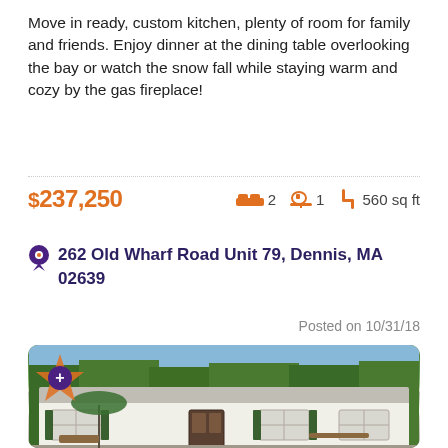Move in ready, custom kitchen, plenty of room for family and friends. Enjoy dinner at the dining table overlooking the bay or watch the snow fall while staying warm and cozy by the gas fireplace!
$237,250   2 beds  1 bath  560 sq ft
262 Old Wharf Road Unit 79, Dennis, MA 02639
Posted on 10/31/18
[Figure (photo): Exterior photo of a small single-story white house with a grey roof, green shutters, trees in background, and outdoor furniture in front.]